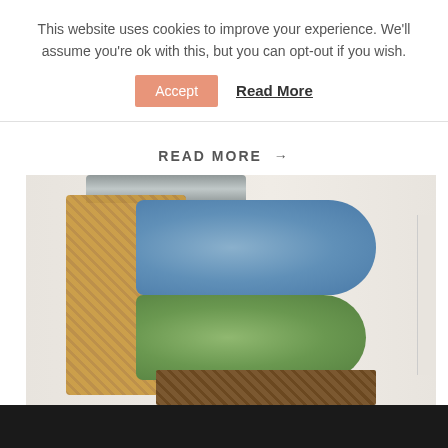This website uses cookies to improve your experience. We'll assume you're ok with this, but you can opt-out if you wish.
Accept   Read More
READ MORE →
[Figure (photo): Photo of rolled towels (blue and green) stored in a wicker basket mounted on a wall, with a metal tub on top and another small basket below.]